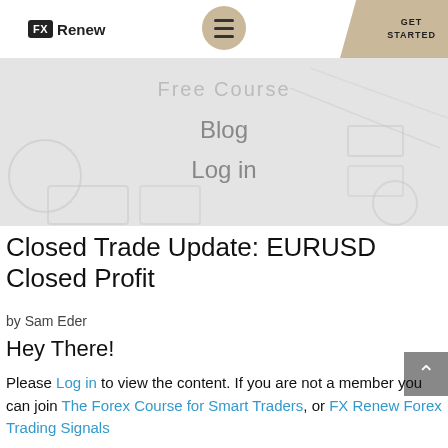FX Renew | GET STARTED
[Figure (screenshot): Navigation hero banner with 'Free Course', 'Blog', and 'Log in' menu overlay on a light grey background with decorative geometric shapes]
Closed Trade Update: EURUSD Closed Profit
by Sam Eder
Hey There!
Please Log in to view the content. If you are not a member you can join The Forex Course for Smart Traders, or FX Renew Forex Trading Signals